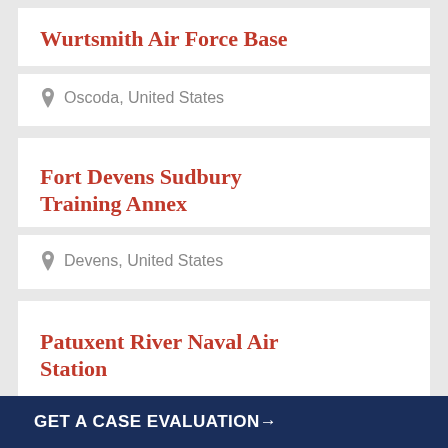Wurtsmith Air Force Base
Oscoda, United States
Fort Devens Sudbury Training Annex
Devens, United States
Patuxent River Naval Air Station
GET A CASE EVALUATION→